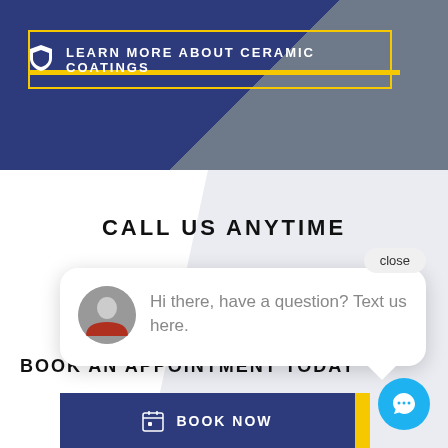[Figure (screenshot): Top section dark blue and gray gradient background with a bordered button labeled LEARN MORE ABOUT CERAMIC COATINGS with a shield icon, yellow accent lines]
LEARN MORE ABOUT CERAMIC COATINGS
CALL US ANYTIME
close
Hi there, have a question? Text us here.
BOOK AN APPOINTMENT TODAY
BOOK NOW